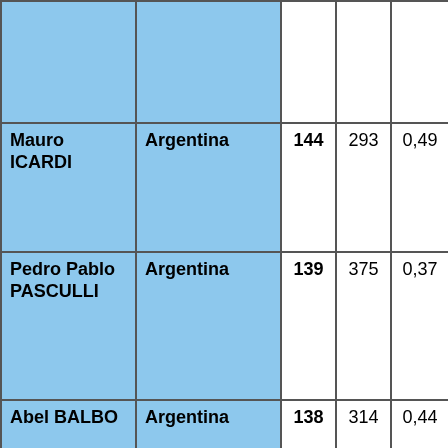| Player | Country | Col3 | Col4 | Col5 |
| --- | --- | --- | --- | --- |
|  |  |  |  |  |
| Mauro ICARDI | Argentina | 144 | 293 | 0,49 |
| Pedro Pablo PASCULLI | Argentina | 139 | 375 | 0,37 |
| Abel BALBO | Argentina | 138 | 314 | 0,44 |
| Daniel PASSARELLA | Argentina | 134 | 451 | 0,30 |